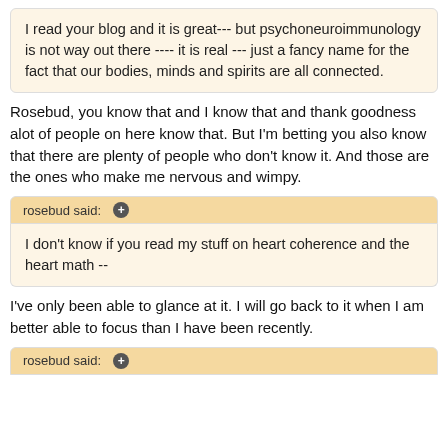I read your blog and it is great--- but psychoneuroimmunology is not way out there ---- it is real --- just a fancy name for the fact that our bodies, minds and spirits are all connected.
Rosebud, you know that and I know that and thank goodness alot of people on here know that. But I'm betting you also know that there are plenty of people who don't know it. And those are the ones who make me nervous and wimpy.
rosebud said: +
I don't know if you read my stuff on heart coherence and the heart math --
I've only been able to glance at it. I will go back to it when I am better able to focus than I have been recently.
rosebud said: +